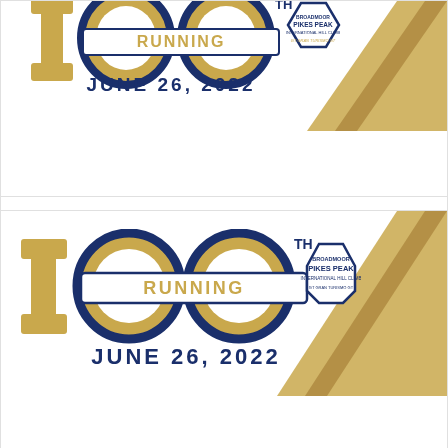[Figure (logo): 100th Running Pikes Peak International Hill Climb logo with gold numerals '100', 'RUNNING' banner, hexagonal Broadmoor Pikes Peak emblem, and 'JUNE 26, 2022' text — partially cropped at top]
Watch The 100th Running Of The Broadmoor Pikes Peak International Hill Climb On Bahakel Sports
[Figure (logo): 100th Running Pikes Peak International Hill Climb logo with gold numerals '100', 'RUNNING' banner, hexagonal Broadmoor Pikes Peak International Hill Climb emblem, 'Gran Turismo' sponsor text, and 'JUNE 26, 2022' text — full logo with gold chevron ribbon on right side]